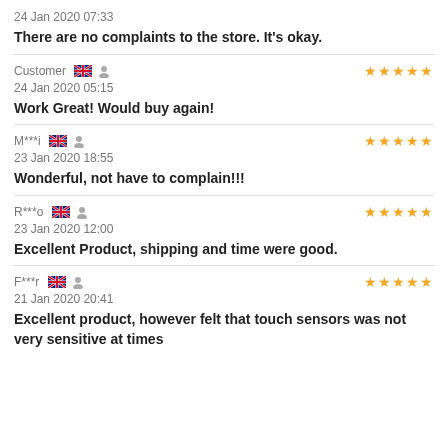24 Jan 2020 07:33
There are no complaints to the store. It's okay.
Customer  ★★★★★  24 Jan 2020 05:15
Work Great! Would buy again!
M***i  ★★★★★  23 Jan 2020 18:55
Wonderful, not have to complain!!!
R***o  ★★★★★  23 Jan 2020 12:00
Excellent Product, shipping and time were good.
F***r  ★★★★★  21 Jan 2020 20:41
Excellent product, however felt that touch sensors was not very sensitive at times